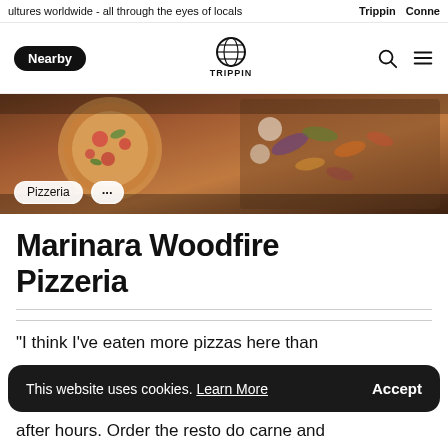ultures worldwide - all through the eyes of locals   Trippin   Conne
Nearby | TRIPPIN (logo) | search | menu
[Figure (photo): Hero image of pizza and food items on a wooden surface, with overlay tags 'Pizzeria' and '...']
Marinara Woodfire Pizzeria
“I think I’ve eaten more pizzas here than
This website uses cookies. Learn More   Accept
after hours. Order the resto do carne and